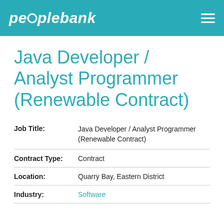peoplebank
Java Developer / Analyst Programmer (Renewable Contract)
| Field | Value |
| --- | --- |
| Job Title: | Java Developer / Analyst Programmer (Renewable Contract) |
| Contract Type: | Contract |
| Location: | Quarry Bay, Eastern District |
| Industry: | Software |